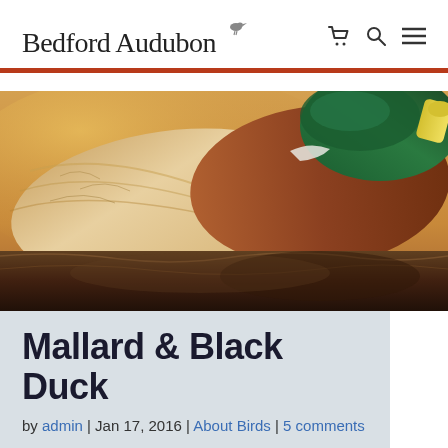Bedford Audubon
[Figure (photo): Close-up photograph of a mallard duck on water, showing brown/chestnut body feathers, white chest, and green iridescent head visible at top right, with golden warm light and water reflection below]
Mallard & Black Duck
by admin | Jan 17, 2016 | About Birds | 5 comments